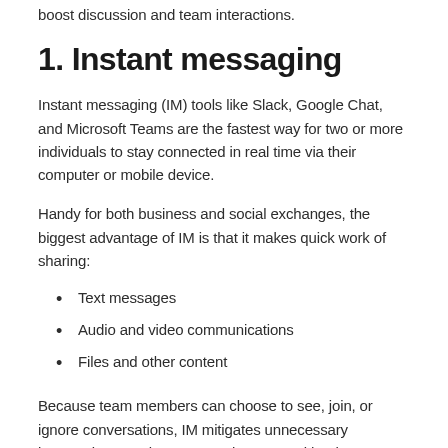boost discussion and team interactions.
1. Instant messaging
Instant messaging (IM) tools like Slack, Google Chat, and Microsoft Teams are the fastest way for two or more individuals to stay connected in real time via their computer or mobile device.
Handy for both business and social exchanges, the biggest advantage of IM is that it makes quick work of sharing:
Text messages
Audio and video communications
Files and other content
Because team members can choose to see, join, or ignore conversations, IM mitigates unnecessary interruptions. And many apps integrate with other valuable team